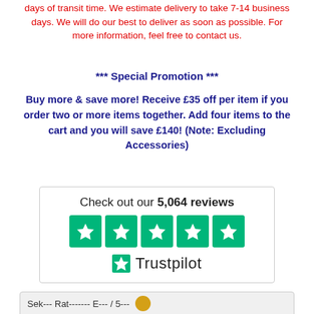days of transit time. We estimate delivery to take 7-14 business days. We will do our best to deliver as soon as possible. For more information, feel free to contact us.
*** Special Promotion ***
Buy more & save more! Receive £35 off per item if you order two or more items together. Add four items to the cart and you will save £140! (Note: Excluding Accessories)
[Figure (logo): Trustpilot widget showing 5,064 reviews with 5 green star boxes and Trustpilot logo]
[Figure (other): Partially visible bottom section with grey background, partially cut off text and a small circular badge/logo]